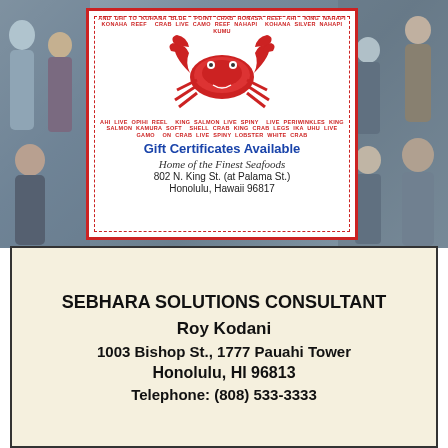[Figure (illustration): Top half of page showing a group photo background with a white bordered ad card in the center featuring a red crab illustration, text about seafood varieties, 'Gift Certificates Available', 'Home of the Finest Seafoods', address at 802 N. King St. (at Palama St.), Honolulu, Hawaii 96817]
Gift Certificates Available
Home of the Finest Seafoods
802 N. King St. (at Palama St.)
Honolulu, Hawaii 96817
SEBHARA SOLUTIONS CONSULTANT
Roy Kodani
1003 Bishop St., 1777 Pauahi Tower
Honolulu, HI 96813
Telephone: (808) 533-3333